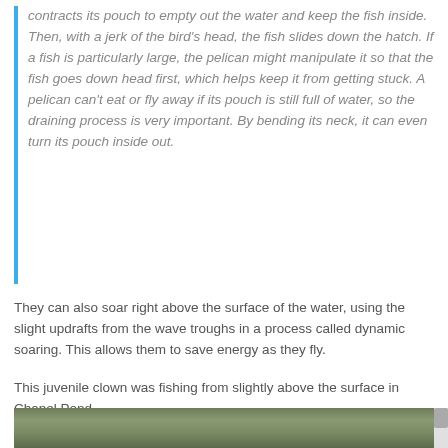contracts its pouch to empty out the water and keep the fish inside. Then, with a jerk of the bird’s head, the fish slides down the hatch. If a fish is particularly large, the pelican might manipulate it so that the fish goes down head first, which helps keep it from getting stuck. A pelican can’t eat or fly away if its pouch is still full of water, so the draining process is very important. By bending its neck, it can even turn its pouch inside out.
They can also soar right above the surface of the water, using the slight updrafts from the wave troughs in a process called dynamic soaring. This allows them to save energy as they fly.
This juvenile clown was fishing from slightly above the surface in Chapel Pond.
[Figure (photo): Photograph of a bird in a natural outdoor setting with green and brown vegetation/shrubbery in the background, partially visible at the bottom of the page.]